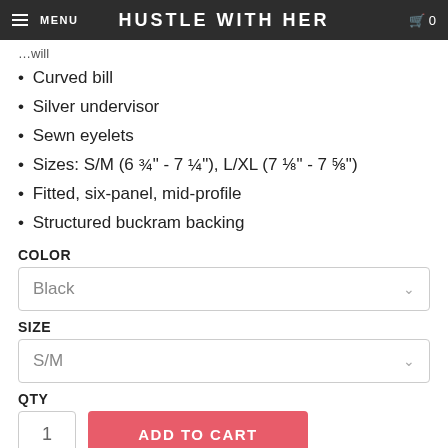MENU  HUSTLE WITH HER  0
…will
Curved bill
Silver undervisor
Sewn eyelets
Sizes: S/M (6 ¾" - 7 ¼"), L/XL (7 ⅛" - 7 ⅝")
Fitted, six-panel, mid-profile
Structured buckram backing
COLOR
Black
SIZE
S/M
QTY
1  ADD TO CART